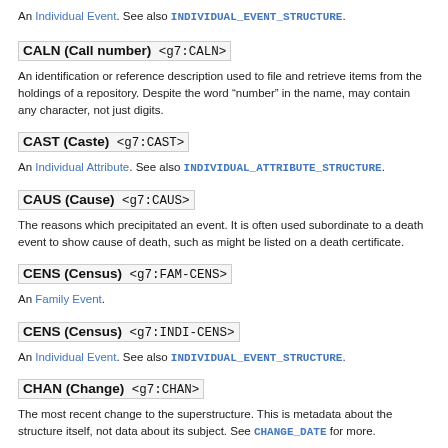An Individual Event. See also INDIVIDUAL_EVENT_STRUCTURE.
CALN (Call number)  <g7:CALN>
An identification or reference description used to file and retrieve items from the holdings of a repository. Despite the word “number” in the name, may contain any character, not just digits.
CAST (Caste)  <g7:CAST>
An Individual Attribute. See also INDIVIDUAL_ATTRIBUTE_STRUCTURE.
CAUS (Cause)  <g7:CAUS>
The reasons which precipitated an event. It is often used subordinate to a death event to show cause of death, such as might be listed on a death certificate.
CENS (Census)  <g7:FAM-CENS>
An Family Event.
CENS (Census)  <g7:INDI-CENS>
An Individual Event. See also INDIVIDUAL_EVENT_STRUCTURE.
CHAN (Change)  <g7:CHAN>
The most recent change to the superstructure. This is metadata about the structure itself, not data about its subject. See CHANGE_DATE for more.
CHIL (Child)  <g7:CHIL>
The child in a family, whether biological, adopted, foster, sealed, or other relationship.